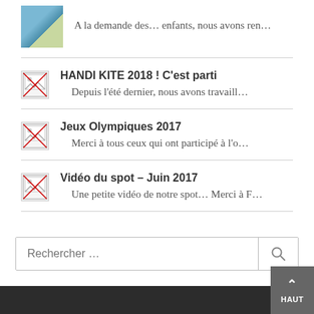[Figure (photo): Small photo thumbnail showing people outdoors near water]
A la demande des… enfants, nous avons ren…
[Figure (other): Broken image icon placeholder]
HANDI KITE 2018 ! C'est parti
Depuis l'été dernier, nous avons travaill…
[Figure (other): Broken image icon placeholder]
Jeux Olympiques 2017
Merci à tous ceux qui ont participé à l'o…
[Figure (other): Broken image icon placeholder]
Vidéo du spot – Juin 2017
Une petite vidéo de notre spot… Merci à F…
Rechercher …
HAUT